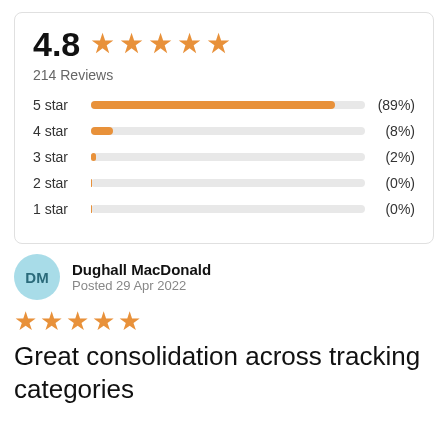[Figure (bar-chart): 4.8 star rating — 214 Reviews]
DM
Dughall MacDonald
Posted 29 Apr 2022
Great consolidation across tracking categories